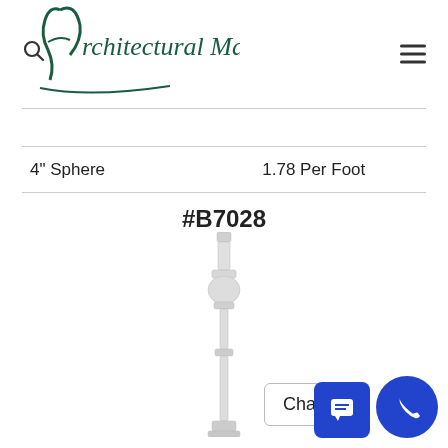Architectural Mall, Inc
| 4" Sphere | 1.78 Per Foot |
#B7028
[Figure (photo): A white architectural baluster/spindle with turned decorative profile, product #B7028]
Chat